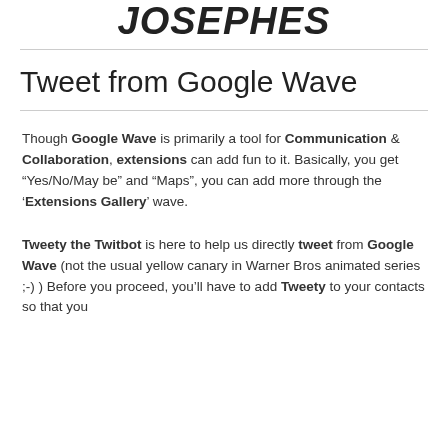JOSEPHES
Tweet from Google Wave
Though Google Wave is primarily a tool for Communication & Collaboration, extensions can add fun to it. Basically, you get “Yes/No/May be” and “Maps”, you can add more through the ‘Extensions Gallery’ wave.
Tweety the Twitbot is here to help us directly tweet from Google Wave (not the usual yellow canary in Warner Bros animated series ;-) ) Before you proceed, you’ll have to add Tweety to your contacts so that you